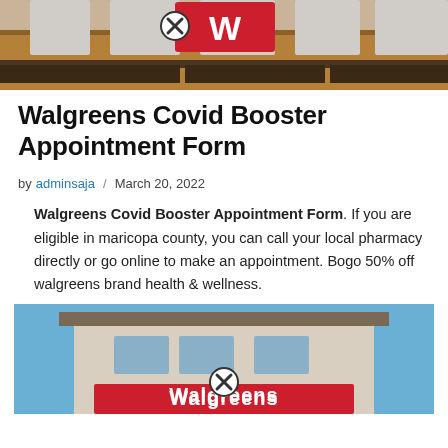[Figure (photo): Walgreens store exterior building facade with red Walgreens logo sign partially visible and a close/X button overlay circle icon]
Walgreens Covid Booster Appointment Form
by adminsaja / March 20, 2022
Walgreens Covid Booster Appointment Form. If you are eligible in maricopa county, you can call your local pharmacy directly or go online to make an appointment. Bogo 50% off walgreens brand health & wellness.
[Figure (photo): Walgreens store exterior building with blue sky background and red Walgreens logo sign with close/X button overlay]